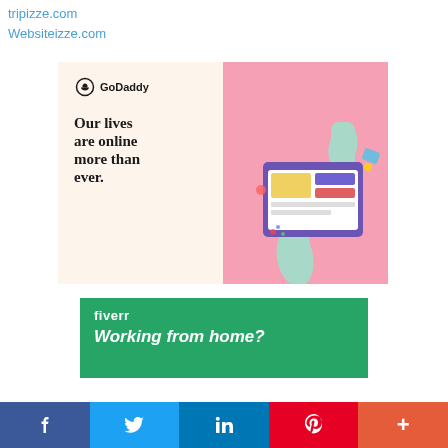tripizze.com
Websiteizze.com
[Figure (advertisement): GoDaddy advertisement with cream left panel showing logo and tagline 'Our lives are online more than ever.' and pink right panel with 3D hands holding a website browser illustration]
[Figure (advertisement): Fiverr advertisement on green background with brand name 'fiverr' and text 'Working from home?']
f  Twitter  in  Pinterest  +